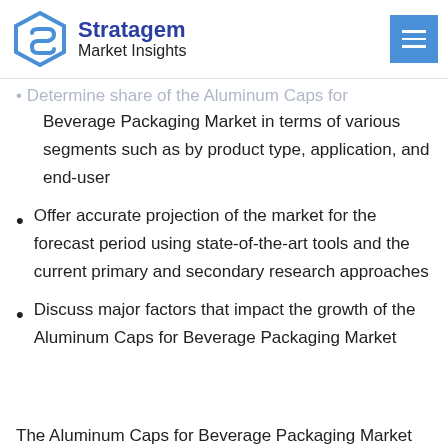Stratagem Market Insights
Determine share of the Aluminum Caps for Beverage Packaging Market in terms of various segments such as by product type, application, and end-user
Offer accurate projection of the market for the forecast period using state-of-the-art tools and the current primary and secondary research approaches
Discuss major factors that impact the growth of the Aluminum Caps for Beverage Packaging Market
The Aluminum Caps for Beverage Packaging Market